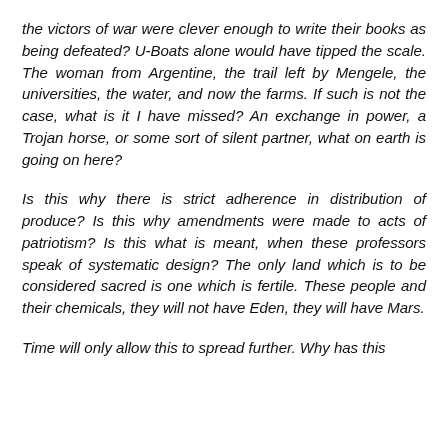the victors of war were clever enough to write their books as being defeated? U-Boats alone would have tipped the scale. The woman from Argentine, the trail left by Mengele, the universities, the water, and now the farms. If such is not the case, what is it I have missed? An exchange in power, a Trojan horse, or some sort of silent partner, what on earth is going on here?
Is this why there is strict adherence in distribution of produce? Is this why amendments were made to acts of patriotism? Is this what is meant, when these professors speak of systematic design? The only land which is to be considered sacred is one which is fertile. These people and their chemicals, they will not have Eden, they will have Mars.
Time will only allow this to spread further. Why has this